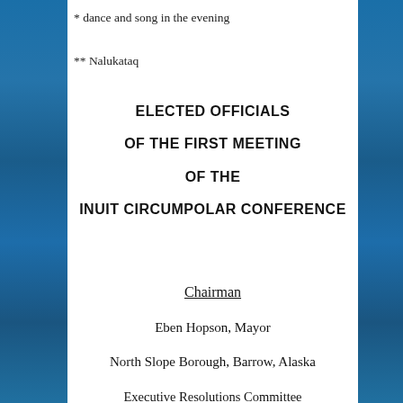* dance and song in the evening
** Nalukataq
ELECTED OFFICIALS OF THE FIRST MEETING OF THE INUIT CIRCUMPOLAR CONFERENCE
Chairman
Eben Hopson, Mayor
North Slope Borough, Barrow, Alaska
Executive Resolutions Committee